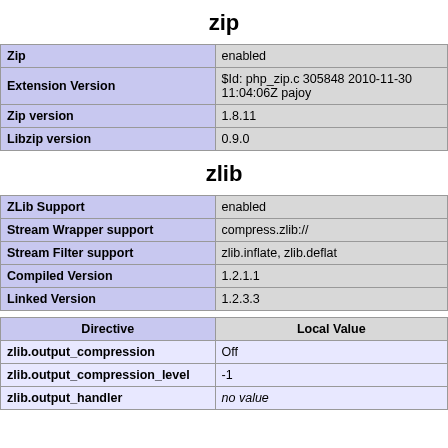zip
| Zip | Extension Version | Zip version | Libzip version |
| --- | --- | --- | --- |
| Zip | enabled |
| Extension Version | $Id: php_zip.c 305848 2010-11-30 11:04:06Z pajoy |
| Zip version | 1.8.11 |
| Libzip version | 0.9.0 |
zlib
| ZLib Support | enabled |
| Stream Wrapper support | compress.zlib:// |
| Stream Filter support | zlib.inflate, zlib.deflat |
| Compiled Version | 1.2.1.1 |
| Linked Version | 1.2.3.3 |
| Directive | Local Value |
| --- | --- |
| zlib.output_compression | Off |
| zlib.output_compression_level | -1 |
| zlib.output_handler | no value |